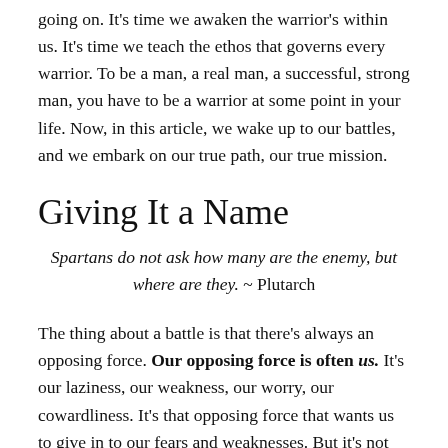going on. It's time we awaken the warrior's within us. It's time we teach the ethos that governs every warrior. To be a man, a real man, a successful, strong man, you have to be a warrior at some point in your life. Now, in this article, we wake up to our battles, and we embark on our true path, our true mission.
Giving It a Name
Spartans do not ask how many are the enemy, but where are they. ~ Plutarch
The thing about a battle is that there's always an opposing force. Our opposing force is often us. It's our laziness, our weakness, our worry, our cowardliness. It's that opposing force that wants us to give in to our fears and weaknesses. But it's not all that fun to fight